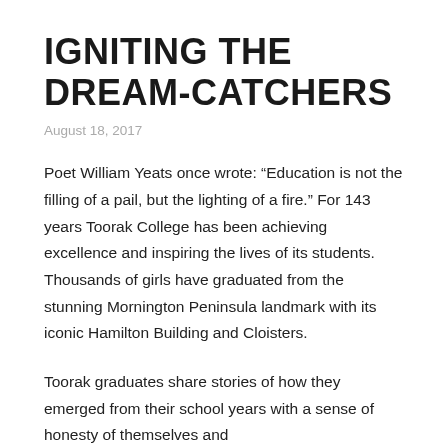IGNITING THE DREAM-CATCHERS
August 18, 2017
Poet William Yeats once wrote: “Education is not the filling of a pail, but the lighting of a fire.” For 143 years Toorak College has been achieving excellence and inspiring the lives of its students. Thousands of girls have graduated from the stunning Mornington Peninsula landmark with its iconic Hamilton Building and Cloisters.
Toorak graduates share stories of how they emerged from their school years with a sense of honesty of themselves and